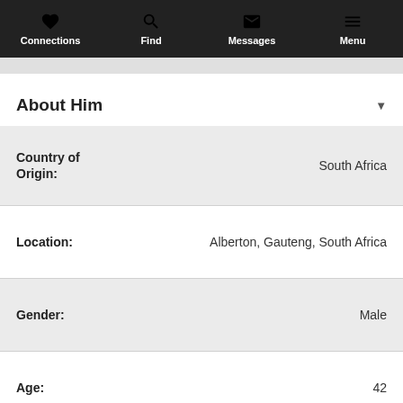Connections | Find | Messages | Menu
About Him
| Field | Value |
| --- | --- |
| Country of Origin: | South Africa |
| Location: | Alberton, Gauteng, South Africa |
| Gender: | Male |
| Age: | 42 |
| Star Sign: | Pisces |
| Height: | 141cm (4' 7.5") |